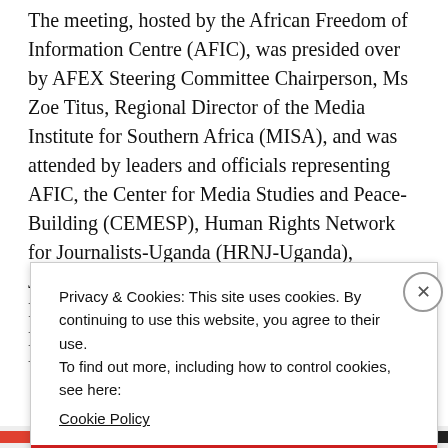The meeting, hosted by the African Freedom of Information Centre (AFIC), was presided over by AFEX Steering Committee Chairperson, Ms Zoe Titus, Regional Director of the Media Institute for Southern Africa (MISA), and was attended by leaders and officials representing AFIC, the Center for Media Studies and Peace-Building (CEMESP), Human Rights Network for Journalists-Uganda (HRNJ-Uganda), Journaliste en Danger (JED), the Media Foundation for West Africa (MFWA), MISA, Media Rights Agenda (MRA) and the National Union of Somali Journalists
Privacy & Cookies: This site uses cookies. By continuing to use this website, you agree to their use.
To find out more, including how to control cookies, see here:
Cookie Policy
Close and accept